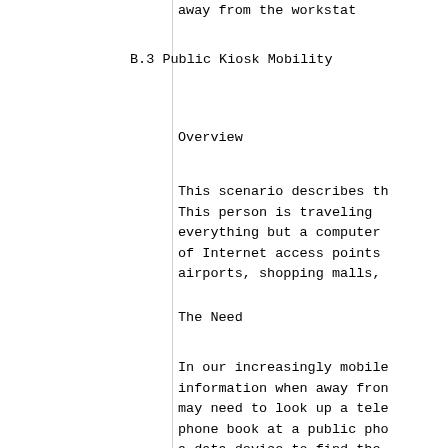away from the workstat
B.3 Public Kiosk Mobility
Overview
This scenario describes th
This person is traveling 
everything but a computer
of Internet access points
airports, shopping malls,
The Need
In our increasingly mobile
information when away fron
may need to look up a tele
phone book at a public pho
a data device to find the
proliferation of wireless
the ability to create a ne